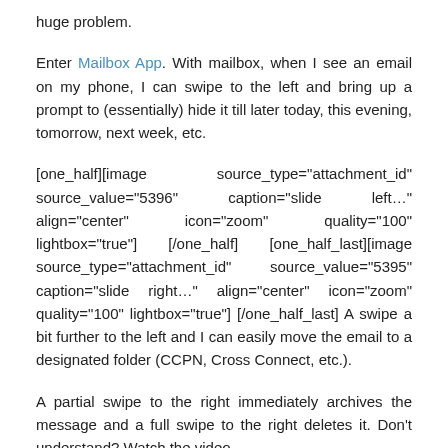huge problem.
Enter Mailbox App. With mailbox, when I see an email on my phone, I can swipe to the left and bring up a prompt to (essentially) hide it till later today, this evening, tomorrow, next week, etc.
[one_half][image source_type="attachment_id" source_value="5396" caption="slide left…" align="center" icon="zoom" quality="100" lightbox="true"] [/one_half] [one_half_last][image source_type="attachment_id" source_value="5395" caption="slide right…" align="center" icon="zoom" quality="100" lightbox="true"] [/one_half_last] A swipe a bit further to the left and I can easily move the email to a designated folder (CCPN, Cross Connect, etc.).
A partial swipe to the right immediately archives the message and a full swipe to the right deletes it. Don't understand? Watch the video…